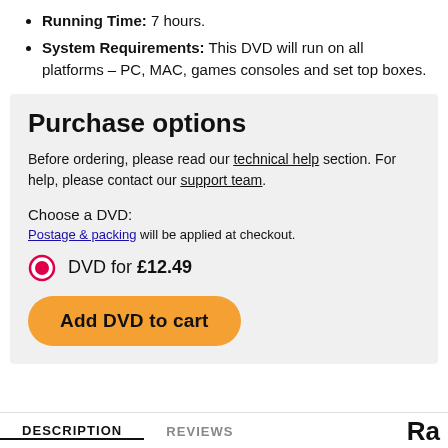Running Time: 7 hours.
System Requirements: This DVD will run on all platforms – PC, MAC, games consoles and set top boxes.
Purchase options
Before ordering, please read our technical help section. For help, please contact our support team.
Choose a DVD:
Postage & packing will be applied at checkout.
DVD for £12.49
Add DVD to cart
DESCRIPTION   REVIEWS   Ra